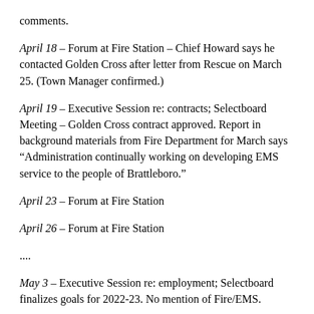comments.
April 18 – Forum at Fire Station – Chief Howard says he contacted Golden Cross after letter from Rescue on March 25. (Town Manager confirmed.)
April 19 – Executive Session re: contracts; Selectboard Meeting – Golden Cross contract approved. Report in background materials from Fire Department for March says “Administration continually working on developing EMS service to the people of Brattleboro.”
April 23 – Forum at Fire Station
April 26 – Forum at Fire Station
....
May 3 – Executive Session re: employment; Selectboard finalizes goals for 2022-23. No mention of Fire/EMS.